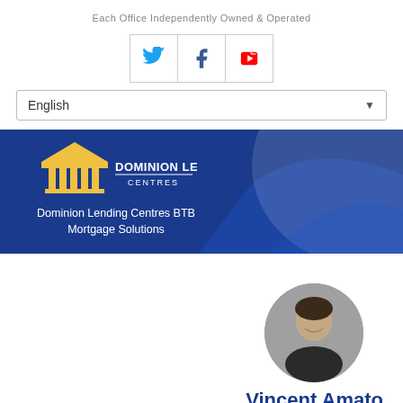Each Office Independently Owned & Operated
[Figure (screenshot): Social media icons row: Twitter, Facebook, YouTube]
[Figure (screenshot): Language dropdown selector showing 'English']
[Figure (logo): Dominion Lending Centres logo with banner. Text: Dominion Lending Centres BTB Mortgage Solutions]
[Figure (photo): Circular headshot photo of Vincent Amato, a man smiling]
Vincent Amato
Mortgage Agent